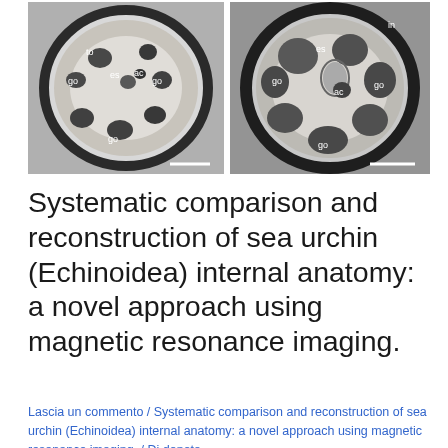[Figure (photo): Two side-by-side grayscale MRI cross-section images of sea urchin (Echinoidea) internal anatomy. Left image shows labeled structures: to (top), go (multiple locations), es, ac. Right image shows labeled structures: in (top right), es, go (multiple locations), ac. Both images have white scale bars at the bottom right.]
Systematic comparison and reconstruction of sea urchin (Echinoidea) internal anatomy: a novel approach using magnetic resonance imaging.
Lascia un commento / Systematic comparison and reconstruction of sea urchin (Echinoidea) internal anatomy: a novel approach using magnetic resonance imaging. / Di donata